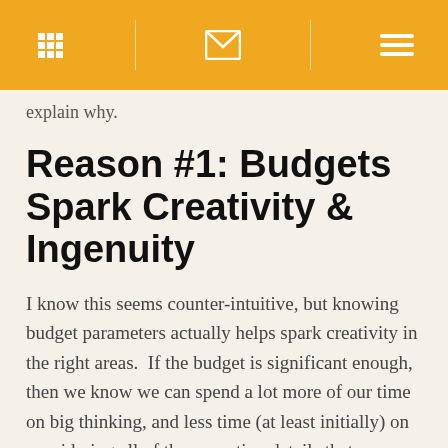[navigation bar with grid, mail, and menu icons]
explain why.
Reason #1: Budgets Spark Creativity & Ingenuity
I know this seems counter-intuitive, but knowing budget parameters actually helps spark creativity in the right areas.  If the budget is significant enough, then we know we can spend a lot more of our time on big thinking, and less time (at least initially) on considering all of the execution details that may contribute to cost.  If we have a